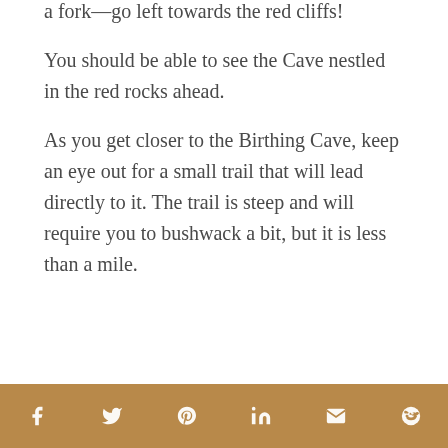a fork—go left towards the red cliffs!
You should be able to see the Cave nestled in the red rocks ahead.
As you get closer to the Birthing Cave, keep an eye out for a small trail that will lead directly to it. The trail is steep and will require you to bushwack a bit, but it is less than a mile.
Social share bar with icons: Facebook, Twitter, Pinterest, LinkedIn, Email, Reddit